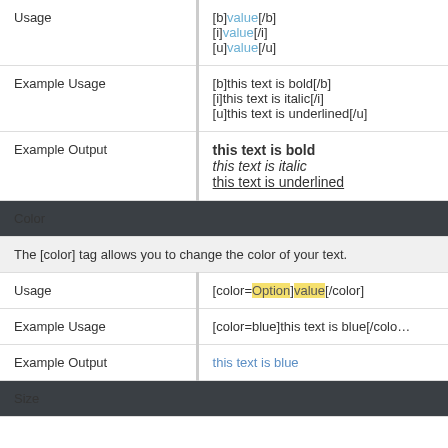|  |  |
| --- | --- |
| Usage | [b]value[/b]
[i]value[/i]
[u]value[/u] |
| Example Usage | [b]this text is bold[/b]
[i]this text is italic[/i]
[u]this text is underlined[/u] |
| Example Output | this text is bold / this text is italic / this text is underlined |
Color
The [color] tag allows you to change the color of your text.
|  |  |
| --- | --- |
| Usage | [color=Option]value[/color] |
| Example Usage | [color=blue]this text is blue[/color] |
| Example Output | this text is blue |
Size